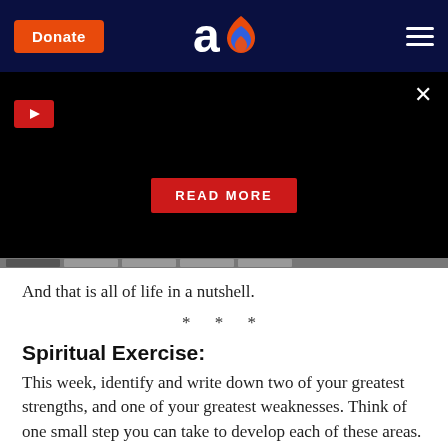[Figure (screenshot): Website navigation bar with dark navy background, orange Donate button on left, 'ao' logo with flame icon in center, hamburger menu on right]
[Figure (screenshot): Black video player area with red play button top-left, X close button top-right, and red READ MORE button centered]
And that is all of life in a nutshell.
* * *
Spiritual Exercise:
This week, identify and write down two of your greatest strengths, and one of your greatest weaknesses. Think of one small step you can take to develop each of these areas.